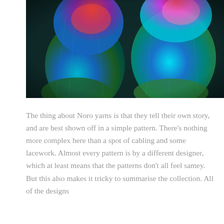[Figure (photo): Close-up photograph of two colorful knitted mittens or gloves made with Noro yarn, showing vibrant multicolor yarn in shades of blue, green, red, teal, and pink against a dark background.]
The thing about Noro yarns is that they tell their own story, and are best shown off in a simple pattern. There's nothing more complex here than a spot of cabling and some lacework. Almost every pattern is by a different designer, which at least means that the patterns don't all feel samey. But this also makes it tricky to summarise the collection. All of the designs are bold, intricate, and the colours are vivid, but to me...